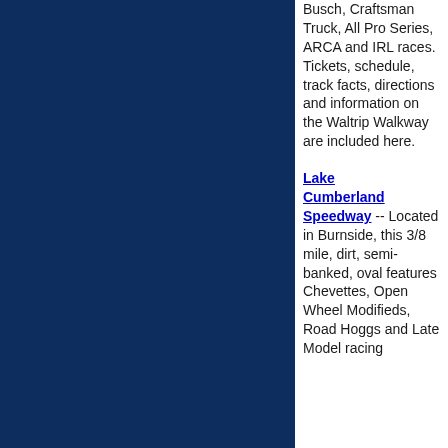Busch, Craftsman Truck, All Pro Series, ARCA and IRL races. Tickets, schedule, track facts, directions and information on the Waltrip Walkway are included here.
Lake Cumberland Speedway -- Located in Burnside, this 3/8 mile, dirt, semi-banked, oval features Chevettes, Open Wheel Modifieds, Road Hoggs and Late Model racing